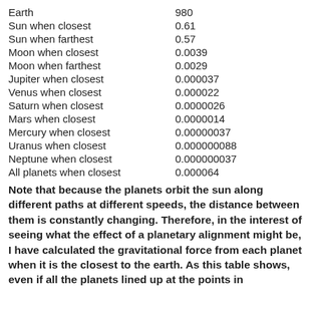| Body | Value |
| --- | --- |
| Earth | 980 |
| Sun when closest | 0.61 |
| Sun when farthest | 0.57 |
| Moon when closest | 0.0039 |
| Moon when farthest | 0.0029 |
| Jupiter when closest | 0.000037 |
| Venus when closest | 0.000022 |
| Saturn when closest | 0.0000026 |
| Mars when closest | 0.0000014 |
| Mercury when closest | 0.00000037 |
| Uranus when closest | 0.000000088 |
| Neptune when closest | 0.000000037 |
| All planets when closest | 0.000064 |
Note that because the planets orbit the sun along different paths at different speeds, the distance between them is constantly changing. Therefore, in the interest of seeing what the effect of a planetary alignment might be, I have calculated the gravitational force from each planet when it is the closest to the earth. As this table shows, even if all the planets lined up at the points in